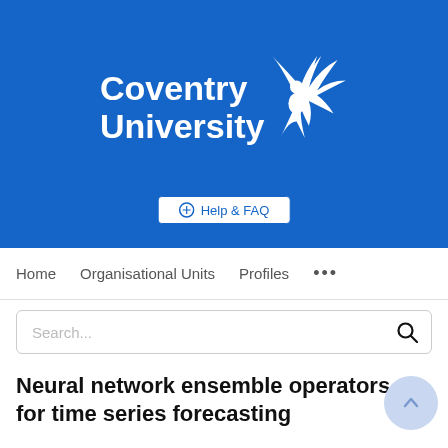[Figure (logo): Coventry University logo with phoenix bird icon on blue background]
Help & FAQ
Home   Organisational Units   Profiles   ...
Search...
Neural network ensemble operators for time series forecasting